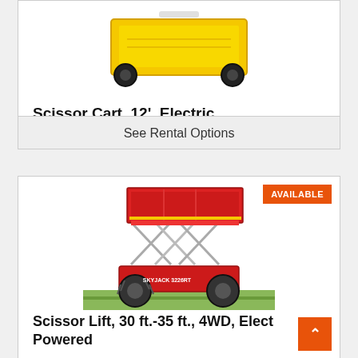[Figure (photo): Yellow scissor cart viewed from above, partial view at top of page]
Scissor Cart, 12', Electric
See Rental Options
[Figure (photo): Red 4WD electric scissor lift extended, full view showing scissor mechanism and large tractor-style wheels]
Scissor Lift, 30 ft.-35 ft., 4WD, Elect... Powered